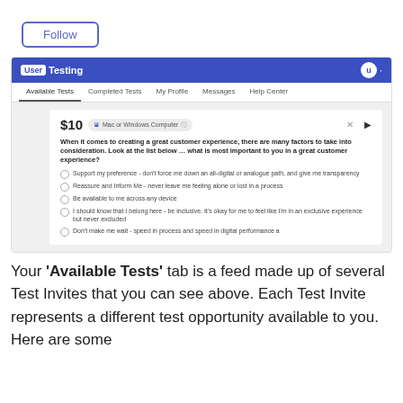[Figure (screenshot): A 'Follow' button with blue border and text]
[Figure (screenshot): Screenshot of UserTesting platform showing Available Tests tab with a $10 test invite card containing a multiple-choice question about customer experience]
Your 'Available Tests' tab is a feed made up of several Test Invites that you can see above. Each Test Invite represents a different test opportunity available to you. Here are some